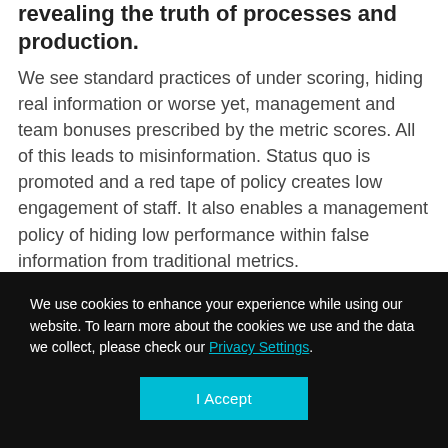These metrics tend to spin wheels, instead of revealing the truth of processes and production. We see standard practices of under scoring, hiding real information or worse yet, management and team bonuses prescribed by the metric scores. All of this leads to misinformation. Status quo is promoted and a red tape of policy creates low engagement of staff. It also enables a management policy of hiding low performance within false information from traditional metrics.
We use cookies to enhance your experience while using our website. To learn more about the cookies we use and the data we collect, please check our Privacy Settings.